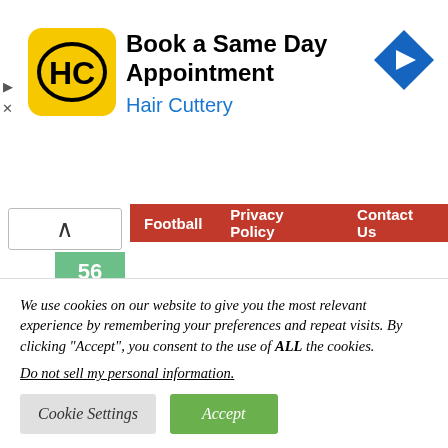[Figure (logo): Hair Cuttery advertisement banner with HC logo, 'Book a Same Day Appointment' heading, 'Hair Cuttery' subtitle in blue, and a blue navigation arrow icon]
Football   Privacy Policy   Contact Us
56
Last season saw the defender notch 11 goals and four assists for club and country, which emphasises his attacking quality, and after Bowen's exploits last season, which saw the England international tally at 13 goals and...
We use cookies on our website to give you the most relevant experience by remembering your preferences and repeat visits. By clicking "Accept", you consent to the use of ALL the cookies.
Do not sell my personal information.